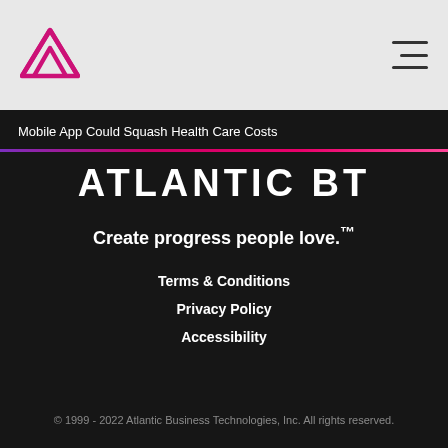[Figure (logo): Atlantic Business Technologies logo — pink/magenta mountain peak icon]
Mobile App Could Squash Health Care Costs
ATLANTIC BT
Create progress people love.™
Terms & Conditions
Privacy Policy
Accessibility
© 1999 - 2022 Atlantic Business Technologies, Inc. All rights reserved.